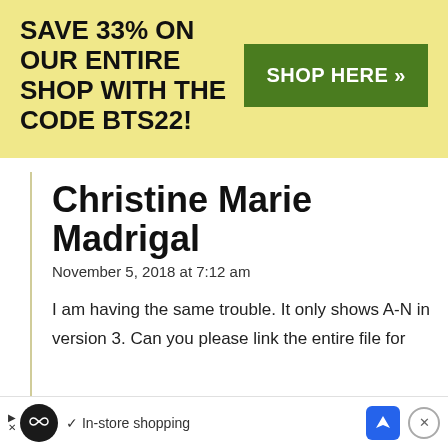[Figure (infographic): Yellow promotional banner: SAVE 33% ON OUR ENTIRE SHOP WITH THE CODE BTS22! with a green SHOP HERE >> button]
Christine Marie Madrigal
November 5, 2018 at 7:12 am
I am having the same trouble. It only shows A-N in version 3. Can you please link the entire file for
[Figure (infographic): Bottom ad bar: circular infinity logo icon, arrow/play icons, checkmark with 'In-store shopping' text, blue navigation icon, close X button]